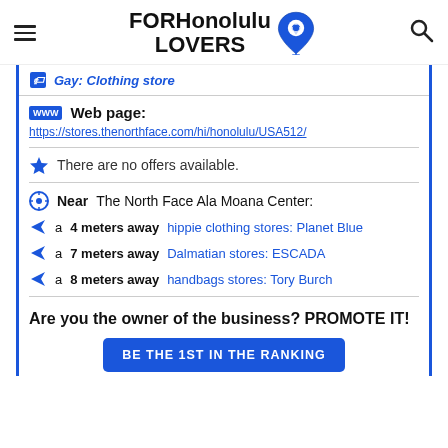FORHonolulu LOVERS
Gay: Clothing store
Web page: https://stores.thenorthface.com/hi/honolulu/USA512/
There are no offers available.
Near The North Face Ala Moana Center:
a 4 meters away hippie clothing stores: Planet Blue
a 7 meters away Dalmatian stores: ESCADA
a 8 meters away handbags stores: Tory Burch
Are you the owner of the business? PROMOTE IT!
BE THE 1ST IN THE RANKING